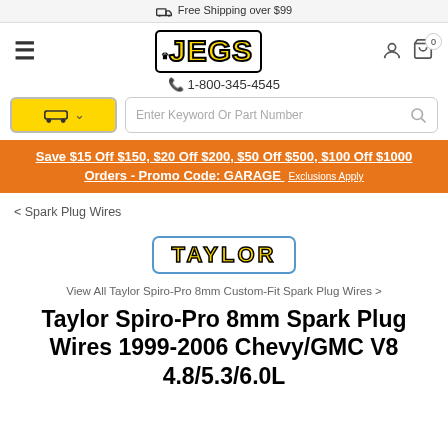🚚 Free Shipping over $99
[Figure (logo): JEGS logo with crown, yellow text with black border]
📞 1-800-345-4545
Save $15 Off $150, $20 Off $200, $50 Off $500, $100 Off $1000 Orders - Promo Code: GARAGE Exclusions Apply
< Spark Plug Wires
[Figure (logo): TAYLOR brand logo, yellow text on white with blue border]
View All Taylor Spiro-Pro 8mm Custom-Fit Spark Plug Wires >
Taylor Spiro-Pro 8mm Spark Plug Wires 1999-2006 Chevy/GMC V8 4.8/5.3/6.0L